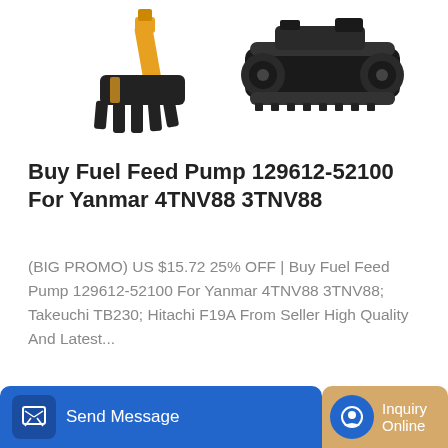[Figure (photo): Two excavator machine parts shown: a bucket/claw attachment on the left and a tracked undercarriage on the right, shown on white background]
Buy Fuel Feed Pump 129612-52100 For Yanmar 4TNV88 3TNV88
(BIG PROMO) US $15.72 25% OFF | Buy Fuel Feed Pump 129612-52100 For Yanmar 4TNV88 3TNV88; Takeuchi TB230; Hitachi F19A From Seller High Quality And Latest...
[Figure (screenshot): Blue 'Learn More' button with rounded corners]
[Figure (photo): Volvo branded excavator arm and body shown from below, dark gray color]
Send Message | Inquiry Online